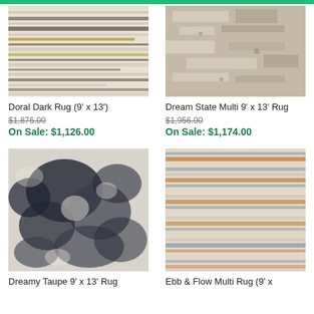[Figure (photo): Doral Dark Rug product photo - abstract striped pattern with yellow/gold and dark lines on cream background]
Doral Dark Rug (9' x 13')
$1,876.00
On Sale: $1,126.00
[Figure (photo): Dream State Multi Rug product photo - muted beige/grey distressed texture]
Dream State Multi 9' x 13' Rug
$1,956.00
On Sale: $1,174.00
[Figure (photo): Dreamy Taupe Rug product photo - dark navy/grey abstract cloud-like pattern on cream]
Dreamy Taupe 9' x 13' Rug
[Figure (photo): Ebb & Flow Multi Rug product photo - horizontal streaked pattern with orange, blue, grey lines on cream]
Ebb & Flow Multi Rug (9' x